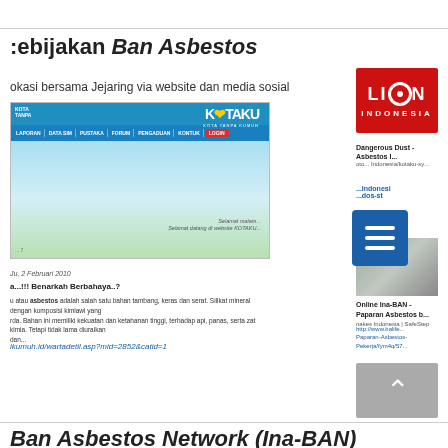Kebijakan Ban Asbestos
okasi bersama Jejaring via website dan media sosial
[Figure (screenshot): KOTAKU (Kota Tanpa Kumuh) website screenshot showing navigation bar with menu items: LAPORAN, DATA SIM, PUSTAKA, FORUM, PENGADUAN, KONTAK, LOGIN]
[Figure (logo): LION INDONESIA logo - red background with white text]
Dangerous Dust - Asbestos Indonesia | SafeStep
[Figure (screenshot): Indonesian asbestos news article sidebar with photo of people]
Online Ina-BAN - Paparan Asbestos bagi Pekerja | SafeStep
http://www.balife... Paparan-Asbestos-Pekerja/fym4q/57
Ju, 2 Februari 2010
a...!!! Benarkah Berbahaya..?
u atau asbestos adalah salah satu bahan tambang, keras dan serat. Silikat mineral dengan komposisi kimiawi yang rda. Bahan ini memiliki kekuatan dan ketahanan tinggi, terhadap api, panas, serta zat kimia. Tetapi tidak lama diuraikan dan...
ikumuh.id/wartadetil.asp?mid=2852&catid=1
Ban Asbestos Network (Ina-BAN)
[Figure (logo): ASBES red bold italic logo text with starburst/lung graphic and person photo]